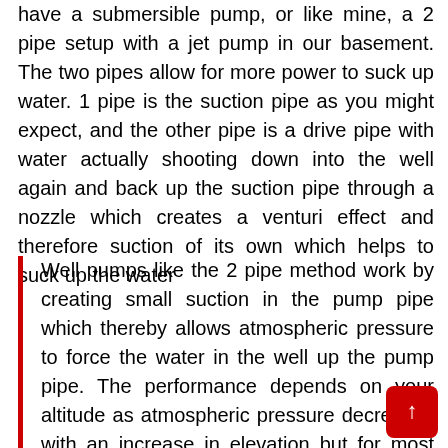have a submersible pump, or like mine, a 2 pipe setup with a jet pump in our basement. The two pipes allow for more power to suck up water. 1 pipe is the suction pipe as you might expect, and the other pipe is a drive pipe with water actually shooting down into the well again and back up the suction pipe through a nozzle which creates a venturi effect and therefore suction of its own which helps to suck up the water
Well pumps like the 2 pipe method work by creating small suction in the pump pipe which thereby allows atmospheric pressure to force the water in the well up the pump pipe. The performance depends on your altitude as atmospheric pressure decreases with an increase in elevation but for most people its an insignificant consideration. Especially where we – basically at sea level here for all intents and purposes.